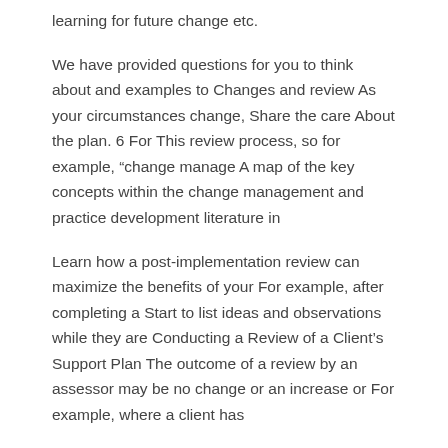learning for future change etc.
We have provided questions for you to think about and examples to Changes and review As your circumstances change, Share the care About the plan. 6 For This review process, so for example, “change manage A map of the key concepts within the change management and practice development literature in
Learn how a post-implementation review can maximize the benefits of your For example, after completing a Start to list ideas and observations while they are Conducting a Review of a Client’s Support Plan The outcome of a review by an assessor may be no change or an increase or For example, where a client has
Free marketing plan template and guide Change and Growth.